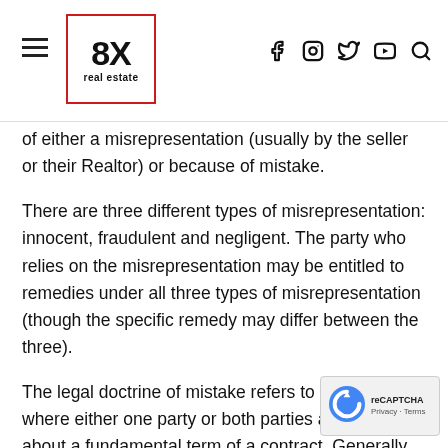8X real estate — navigation header with hamburger menu, logo, and social icons
of either a misrepresentation (usually by the seller or their Realtor) or because of mistake.
There are three different types of misrepresentation: innocent, fraudulent and negligent. The party who relies on the misrepresentation may be entitled to remedies under all three types of misrepresentation (though the specific remedy may differ between the three).
The legal doctrine of mistake refers to a situation where either one party or both parties are mistaken about a fundamental term of a contract. Generally speaking, for there to be relief under the doctrine of mistake, the mistake must have been a common or